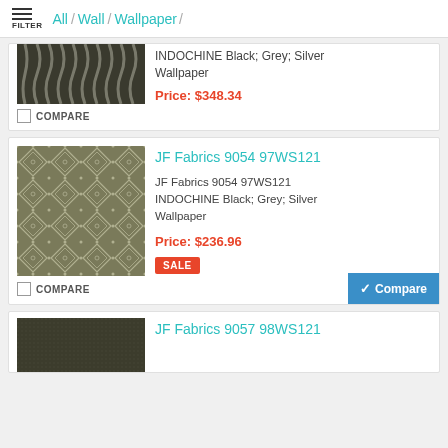FILTER / All / Wall / Wallpaper /
[Figure (photo): Partial view of dark wallpaper with grey wavy vertical stripe pattern (INDOCHINE Black Grey Silver Wallpaper product image, top cropped)]
INDOCHINE Black; Grey; Silver Wallpaper
Price: $348.34
SALE
☐ COMPARE
[Figure (photo): Green/grey geometric diamond lattice pattern wallpaper thumbnail (JF Fabrics 9054 97WS121 INDOCHINE Black Grey Silver Wallpaper)]
JF Fabrics 9054 97WS121
JF Fabrics 9054 97WS121 INDOCHINE Black; Grey; Silver Wallpaper
Price: $236.96
SALE
☐ COMPARE
✓Compare
[Figure (photo): Dark textured wallpaper thumbnail, partially visible at bottom of page (JF Fabrics 9057 98WS121)]
JF Fabrics 9057 98WS121